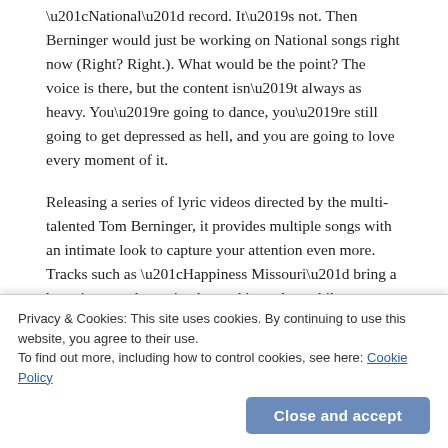“National” record. It’s not. Then Berninger would just be working on National songs right now (Right? Right.). What would be the point? The voice is there, but the content isn’t always as heavy. You’re going to dance, you’re still going to get depressed as hell, and you are going to love every moment of it.
Releasing a series of lyric videos directed by the multi-talented Tom Berninger, it provides multiple songs with an intimate look to capture your attention even more. Tracks such as “Happiness Missouri” bring a haunting, yet determined sound into play, while harmonies fill the album in pieces such as “Silent Ivy Hotel,” or the chilling musicianship of “Paul is Alive.” Songs such as “No Time to Crank the Sun,” offers up Matt’s signature delicate
Each piece on the record is strong enough to stand on
Privacy & Cookies: This site uses cookies. By continuing to use this website, you agree to their use.
To find out more, including how to control cookies, see here: Cookie Policy
Close and accept